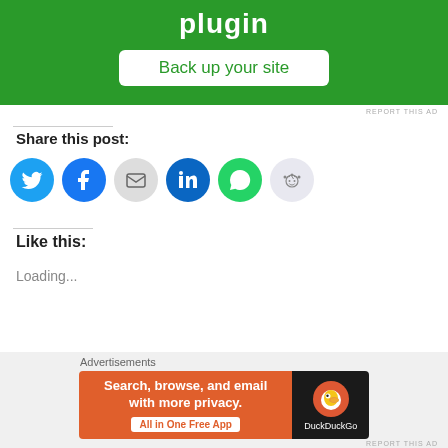[Figure (screenshot): Green advertisement banner with text 'plugin' and a white button 'Back up your site']
REPORT THIS AD
Share this post:
[Figure (infographic): Row of social share icon buttons: Twitter (blue), Facebook (blue), Email (grey), LinkedIn (dark blue), WhatsApp (green), Reddit (light grey)]
Like this:
Loading...
Related Posts
[Figure (screenshot): DuckDuckGo advertisement banner: 'Search, browse, and email with more privacy. All in One Free App' on orange background with DuckDuckGo logo on dark background]
REPORT THIS AD